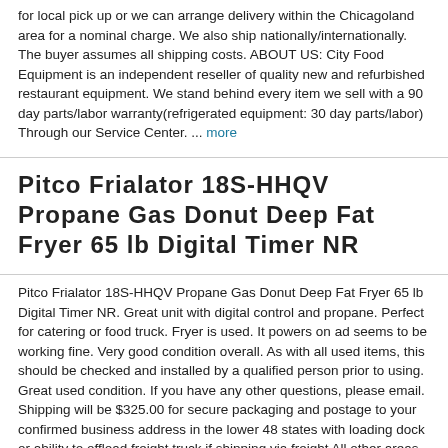for local pick up or we can arrange delivery within the Chicagoland area for a nominal charge. We also ship nationally/internationally. The buyer assumes all shipping costs. ABOUT US: City Food Equipment is an independent reseller of quality new and refurbished restaurant equipment. We stand behind every item we sell with a 90 day parts/labor warranty(refrigerated equipment: 30 day parts/labor) Through our Service Center. ... more
Pitco Frialator 18S-HHQV Propane Gas Donut Deep Fat Fryer 65 lb Digital Timer NR
Pitco Frialator 18S-HHQV Propane Gas Donut Deep Fat Fryer 65 lb Digital Timer NR. Great unit with digital control and propane. Perfect for catering or food truck. Fryer is used. It powers on ad seems to be working fine. Very good condition overall. As with all used items, this should be checked and installed by a qualified person prior to using. Great used condition. If you have any other questions, please email. Shipping will be $325.00 for secure packaging and postage to your confirmed business address in the lower 48 states with loading dock or ability to offload freight truck if shipping via freight All other areas please email for a shipping quote. Thanks for looking!
BELSHAW DONUT ROBOT FT-6 FEED TABLE for MARK VI PRODUCTION SYSTEM FRYER